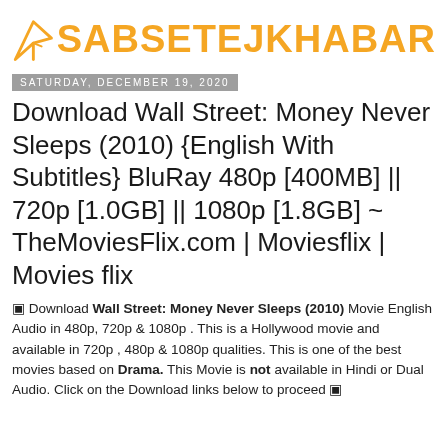[Figure (logo): SabSeTejKhabar logo: orange paper airplane icon followed by bold orange text SABSETEJKHABAR]
Saturday, December 19, 2020
Download Wall Street: Money Never Sleeps (2010) {English With Subtitles} BluRay 480p [400MB] || 720p [1.0GB] || 1080p [1.8GB] ~ TheMoviesFlix.com | Moviesflix | Movies flix
⬛ Download Wall Street: Money Never Sleeps (2010) Movie English Audio in 480p, 720p & 1080p . This is a Hollywood movie and available in 720p , 480p & 1080p qualities. This is one of the best movies based on Drama. This Movie is not available in Hindi or Dual Audio. Click on the Download links below to proceed ⬛